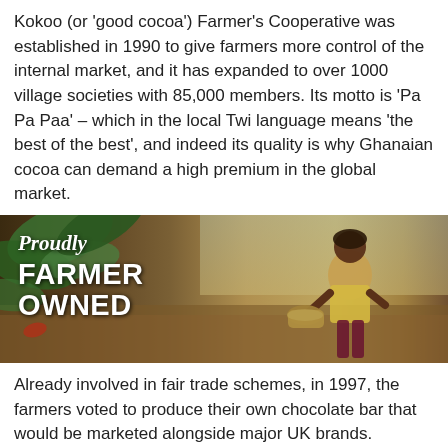Kokoo (or 'good cocoa') Farmer's Cooperative was established in 1990 to give farmers more control of the internal market, and it has expanded to over 1000 village societies with 85,000 members. Its motto is 'Pa Pa Paa' – which in the local Twi language means 'the best of the best', and indeed its quality is why Ghanaian cocoa can demand a high premium in the global market.
[Figure (photo): A banner image with the text 'Proudly FARMER OWNED' overlaid on a photograph of a smiling woman carrying a basket of cocoa in a farm setting with green plants.]
Already involved in fair trade schemes, in 1997, the farmers voted to produce their own chocolate bar that would be marketed alongside major UK brands. Supported by Twin Trading (who also brought us